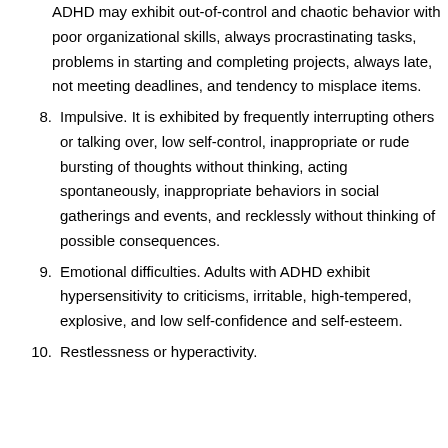ADHD may exhibit out-of-control and chaotic behavior with poor organizational skills, always procrastinating tasks, problems in starting and completing projects, always late, not meeting deadlines, and tendency to misplace items.
8. Impulsive. It is exhibited by frequently interrupting others or talking over, low self-control, inappropriate or rude bursting of thoughts without thinking, acting spontaneously, inappropriate behaviors in social gatherings and events, and recklessly without thinking of possible consequences.
9. Emotional difficulties. Adults with ADHD exhibit hypersensitivity to criticisms, irritable, high-tempered, explosive, and low self-confidence and self-esteem.
10. Restlessness or hyperactivity.